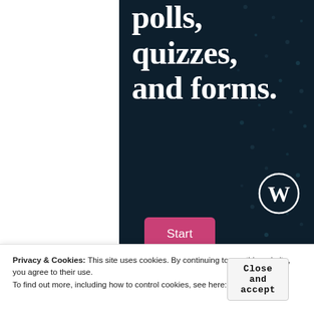polls, quizzes, and forms.
Start now
[Figure (logo): WordPress logo - white circle with W letter mark on dark navy background]
Privacy & Cookies: This site uses cookies. By continuing to use this website, you agree to their use.
To find out more, including how to control cookies, see here: Cookie Policy
Close and accept